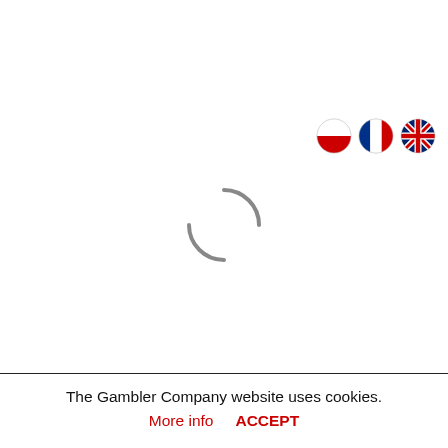[Figure (illustration): Three circular flag icons: Polish flag (red and white), French flag (blue, white, red vertical stripes), and UK flag (Union Jack)]
[Figure (illustration): Loading spinner — two curved arcs forming a circular spinner shape in grey]
The Gambler Company website uses cookies.
More info    ACCEPT